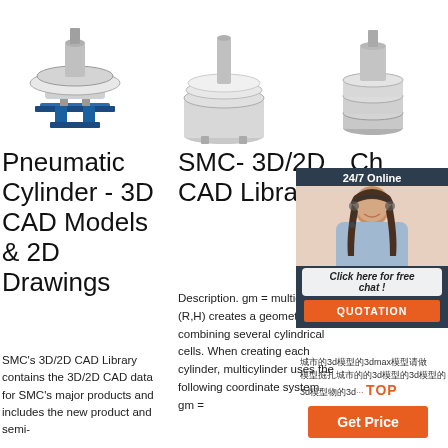[Figure (photo): Three industrial vibratory sieve/separator machines shown from left to right: blue-base separator, stainless steel circular vibrating screen, and multi-deck round vibrating sieve]
Pneumatic Cylinder - 3D CAD Models & 2D Drawings
SMC's 3D/2D CAD Library contains the 3D/2D CAD data for SMC's major products and includes the new product and semi-
SMC- 3D/2D CAD Library
Description. gm = multicylinder (R,H) creates a geometry by combining several cylindrical cells. When creating each cylinder, multicylinder uses the following coordinate system. gm =
[Figure (photo): 24/7 Online chat support widget with customer service representative photo, 'Click here for free chat!' button, and orange QUOTATION button]
中文3d模型3dmax模型 中文模型中文3d模型3d模型 3d模型3d模型...TOP
Get Price